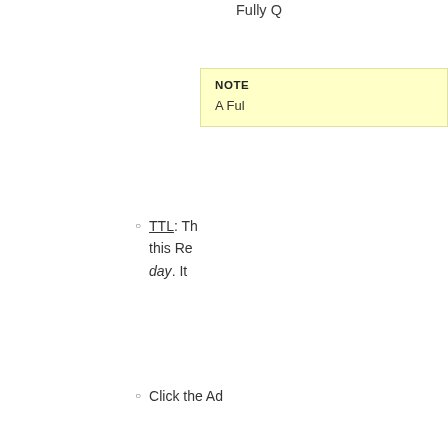Fully Q...
NOTE
A Ful...
TTL: Th... this Re... day. It...
Click the Ad...
NOTE
Similarly, to Mo... either the MOD...
To Manage SOA...